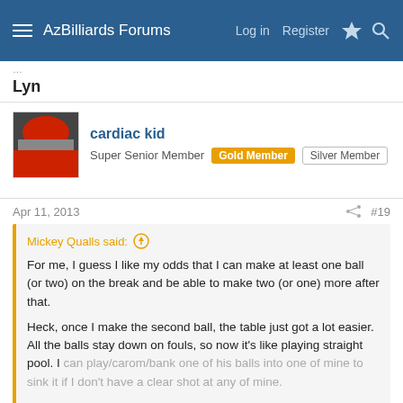AzBilliards Forums  Log in  Register
Lyn
cardiac kid
Super Senior Member  Gold Member  Silver Member
Apr 11, 2013  #19
Mickey Qualls said:
For me, I guess I like my odds that I can make at least one ball (or two) on the break and be able to make two (or one) more after that.

Heck, once I make the second ball, the table just got a lot easier. All the balls stay down on fouls, so now it's like playing straight pool. I can play/carom/bank one of his balls into one of mine to sink it if I don't have a clear shot at any of mine.

Click to expand...
Mickey,